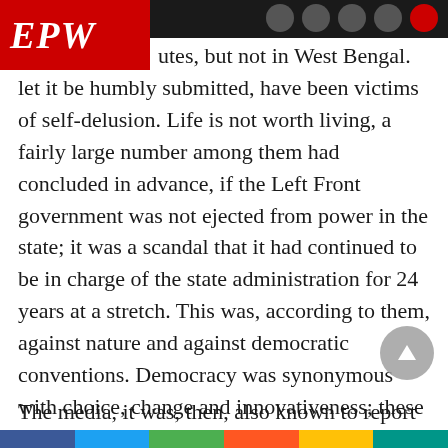EPW
utes, but not in West Bengal. The media, let it be humbly submitted, have been victims of self-delusion. Life is not worth living, a fairly large number among them had concluded in advance, if the Left Front government was not ejected from power in the state; it was a scandal that it had continued to be in charge of the state administration for 24 years at a stretch. This was, according to them, against nature and against democratic conventions. Democracy was synonymous with choice, change and innovativeness; these objectives have been frustrated in West Bengal because of the mulish behaviour of the Left Front: It has refused to budge from the seat of power.
The media, it was, then, also known to report this